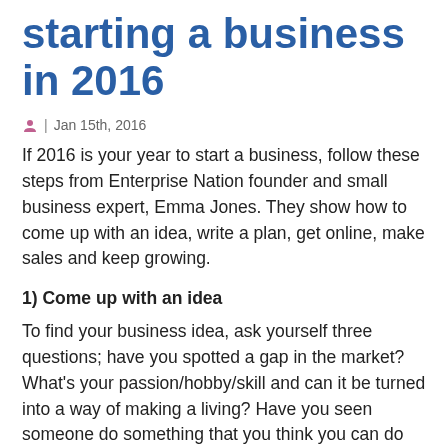starting a business in 2016
| Jan 15th, 2016
If 2016 is your year to start a business, follow these steps from Enterprise Nation founder and small business expert, Emma Jones. They show how to come up with an idea, write a plan, get online, make sales and keep growing.
1) Come up with an idea
To find your business idea, ask yourself three questions; have you spotted a gap in the market? What's your passion/hobby/skill and can it be turned into a way of making a living? Have you seen someone do something that you think you can do better yourself? The answers to these questions will give you the basis of an idea for a business.